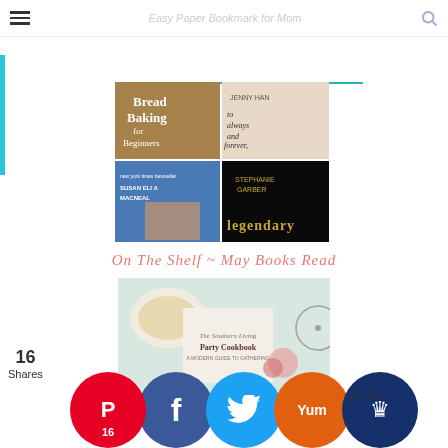Easy Paper Bookmark for Mom
[Figure (illustration): 2x2 grid of book covers: Bread Baking for Beginners (top-left), Always and Forever Lara Jean by Jenny Han (top-right), Susan Elia MacNeal novel (bottom-left), Legendary by Stephanie Garber (bottom-right)]
On The Shelf ~ May Books Read
[Figure (photo): The Southern Living Party Cookbook on a table with food and flowers]
16 Shares
[Figure (infographic): Social sharing buttons: Pinterest (16), Facebook, Twitter, Yummly, and blue crown/other icon]